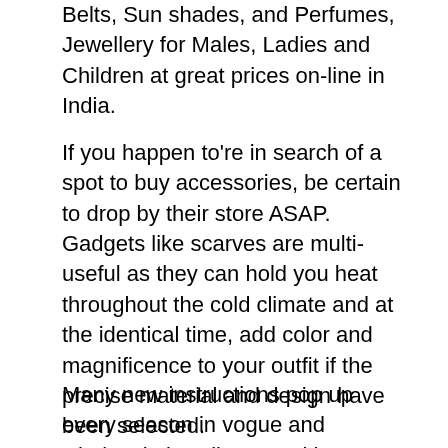Belts, Sun shades, and Perfumes, Jewellery for Males, Ladies and Children at great prices on-line in India.
If you happen to're in search of a spot to buy accessories, be certain to drop by their store ASAP. Gadgets like scarves are multi-useful as they can hold you heat throughout the cold climate and at the identical time, add color and magnificence to your outfit if the precise material and design have been selected.
Many new instructions pop up every season in vogue and wholesale jewellery. Cool jerseys, logo t-shirts and funky